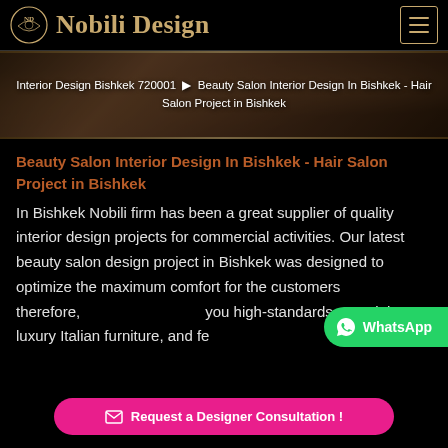Nobili Design
[Figure (screenshot): Hero banner with interior design room background showing breadcrumb navigation: Interior Design Bishkek 720001 > Beauty Salon Interior Design In Bishkek - Hair Salon Project in Bishkek]
Beauty Salon Interior Design In Bishkek - Hair Salon Project in Bishkek
In Bishkek Nobili firm has been a great supplier of quality interior design projects for commercial activities. Our latest beauty salon design project in Bishkek was designed to optimize the maximum comfort for the customers therefore, you high-standards materials, luxury Italian furniture, and fe
Get your Hair Salon business in Bishkek on track and